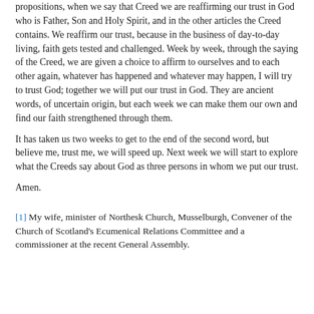propositions, when we say that Creed we are reaffirming our trust in God who is Father, Son and Holy Spirit, and in the other articles the Creed contains. We reaffirm our trust, because in the business of day-to-day living, faith gets tested and challenged. Week by week, through the saying of the Creed, we are given a choice to affirm to ourselves and to each other again, whatever has happened and whatever may happen, I will try to trust God; together we will put our trust in God. They are ancient words, of uncertain origin, but each week we can make them our own and find our faith strengthened through them.
It has taken us two weeks to get to the end of the second word, but believe me, trust me, we will speed up. Next week we will start to explore what the Creeds say about God as three persons in whom we put our trust.
Amen.
[1] My wife, minister of Northesk Church, Musselburgh, Convener of the Church of Scotland's Ecumenical Relations Committee and a commissioner at the recent General Assembly.